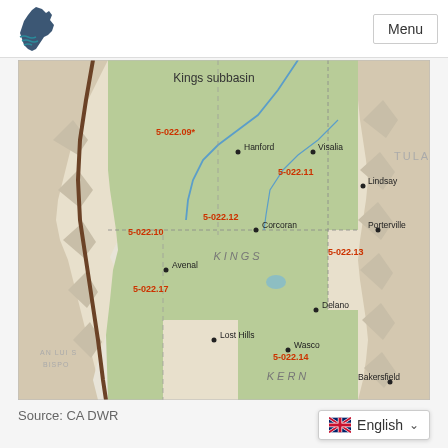[Figure (map): California groundwater basin map showing Kings subbasin region with labeled subbasin codes (5-022.09, 5-022.10, 5-022.11, 5-022.12, 5-022.13, 5-022.14, 5-022.17) and cities including Hanford, Visalia, Lindsay, Porterville, Avenal, Corcoran, Delano, Lost Hills, Wasco, Bakersfield. Counties labeled: KINGS, KERN, TULA. Adjacent area: AN LUIS BISPO. Source: CA DWR]
Source: CA DWR